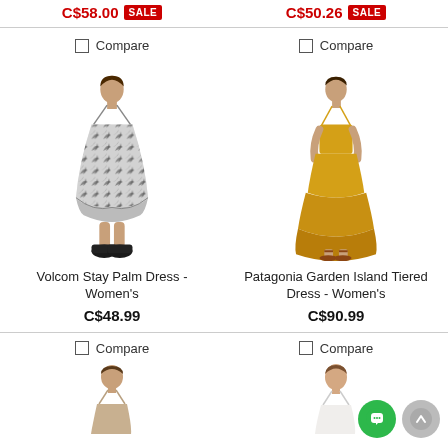C$58.00 SALE
C$50.26 SALE
Compare
Compare
[Figure (photo): Woman wearing a black and white palm print spaghetti strap mini dress with chunky black shoes]
[Figure (photo): Girl wearing a yellow tiered maxi dress with spaghetti straps and brown sandals]
Volcom Stay Palm Dress - Women's
C$48.99
Patagonia Garden Island Tiered Dress - Women's
C$90.99
Compare
Compare
[Figure (photo): Partial view of a woman wearing a beige/taupe spaghetti strap top/dress]
[Figure (photo): Partial view of a woman wearing a white spaghetti strap top/dress]